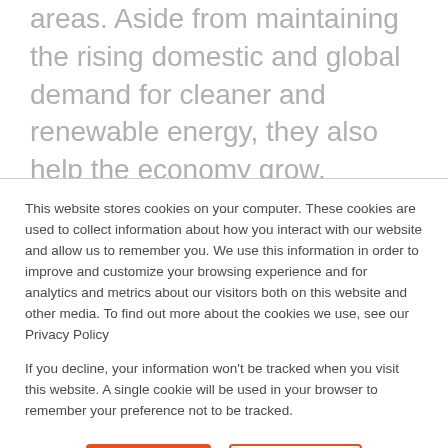areas. Aside from maintaining the rising domestic and global demand for cleaner and renewable energy, they also help the economy grow, particularly the solar industry. If you are in search of a reliable solar manufacturing company, checking out our solar outsourcing company, SolarFeeds, would help you get easy access to reliable information, news, data and a list of solar manufacturers that can help you with solar products.
This website stores cookies on your computer. These cookies are used to collect information about how you interact with our website and allow us to remember you. We use this information in order to improve and customize your browsing experience and for analytics and metrics about our visitors both on this website and other media. To find out more about the cookies we use, see our Privacy Policy
If you decline, your information won't be tracked when you visit this website. A single cookie will be used in your browser to remember your preference not to be tracked.